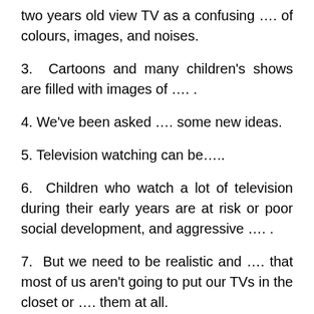two years old view TV as a confusing …. of colours, images, and noises.
3.  Cartoons and many children's shows are filled with images of …. .
4. We've been asked …. some new ideas.
5. Television watching can be…..
6.  Children who watch a lot of television during their early years are at risk or poor social development, and aggressive …. .
7.  But we need to be realistic and …. that most of us aren't going to put our TVs in the closet or …. them at all.
8. A child can learn basic social skills from